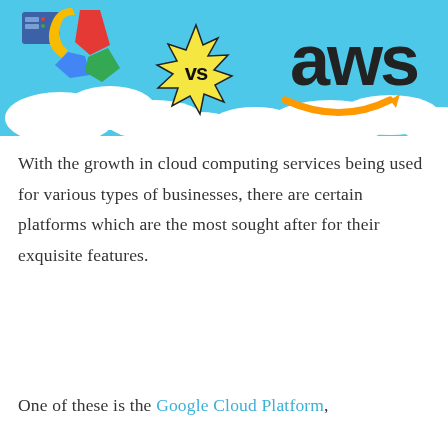[Figure (illustration): Illustration showing Google Cloud Platform logo (colorful 'G' shapes with a server icon) on the left, a yellow star-burst 'vs' badge in the center, and the AWS logo (lowercase 'aws' with orange arrow/smile) on a light blue sky background with white clouds.]
With the growth in cloud computing services being used for various types of businesses, there are certain platforms which are the most sought after for their exquisite features.
One of these is the Google Cloud Platform,